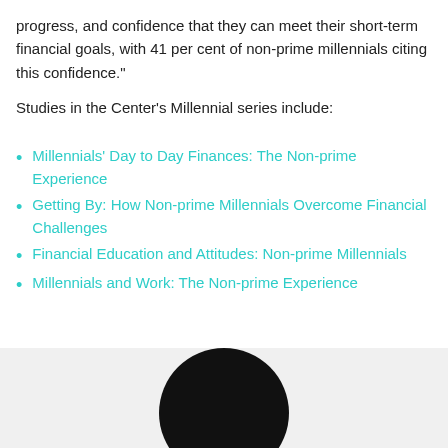progress, and confidence that they can meet their short-term financial goals, with 41 per cent of non-prime millennials citing this confidence."
Studies in the Center's Millennial series include:
Millennials' Day to Day Finances: The Non-prime Experience
Getting By: How Non-prime Millennials Overcome Financial Challenges
Financial Education and Attitudes: Non-prime Millennials
Millennials and Work: The Non-prime Experience
[Figure (illustration): Bottom portion of a circular dark/black shape appearing over a light gray background, suggesting a profile photo or decorative circle element at the bottom of the page.]